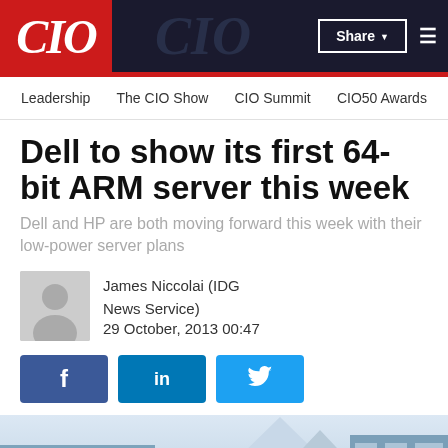CIO
Leadership  The CIO Show  CIO Summit  CIO50 Awards
Dell to show its first 64-bit ARM server this week
Dell and HP are both moving forward this week with their low-power server plans
James Niccolai (IDG News Service)
29 October, 2013 00:47
[Figure (photo): Bottom portion of a building exterior with blue glass and geometric roofline against a light sky]